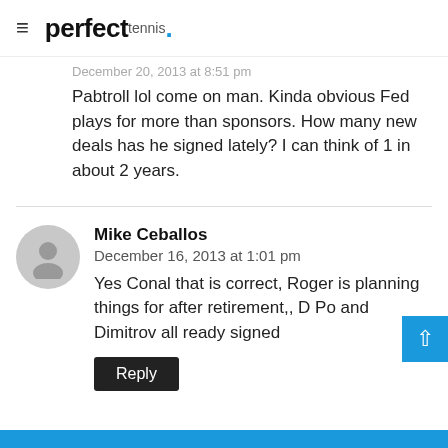≡ perfect tennis.
December 20, 2013 at 8:51 pm
Pabtroll lol come on man. Kinda obvious Fed plays for more than sponsors. How many new deals has he signed lately? I can think of 1 in about 2 years.
Mike Ceballos
December 16, 2013 at 1:01 pm
Yes Conal that is correct, Roger is planning things for after retirement,, D Po and Dimitrov all ready signed
Reply